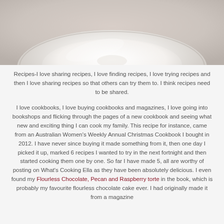[Figure (photo): Close-up photograph of a white ceramic plate or dish, showing the rim and center, with a light beige/grey background.]
Recipes-I love sharing recipes, I love finding recipes, I love trying recipes and then I love sharing recipes so that others can try them to. I think recipes need to be shared.
I love cookbooks, I love buying cookbooks and magazines, I love going into bookshops and flicking through the pages of a new cookbook and seeing what new and exciting thing I can cook my family. This recipe for instance, came from an Australian Women's Weekly Annual Christmas Cookbook I bought in 2012. I have never since buying it made something from it, then one day I picked it up, marked 6 recipes I wanted to try in the next fortnight and then started cooking them one by one. So far I have made 5, all are worthy of posting on What's Cooking Ella as they have been absolutely delicious. I even found my Flourless Chocolate, Pecan and Raspberry torte in the book, which is probably my favourite flourless chocolate cake ever. I had originally made it from a magazine